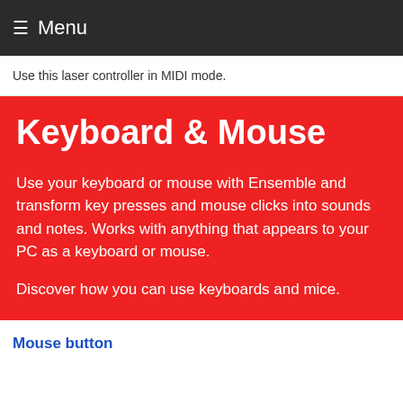☰ Menu
Use this laser controller in MIDI mode.
Keyboard & Mouse
Use your keyboard or mouse with Ensemble and transform key presses and mouse clicks into sounds and notes. Works with anything that appears to your PC as a keyboard or mouse.
Discover how you can use keyboards and mice.
Mouse button